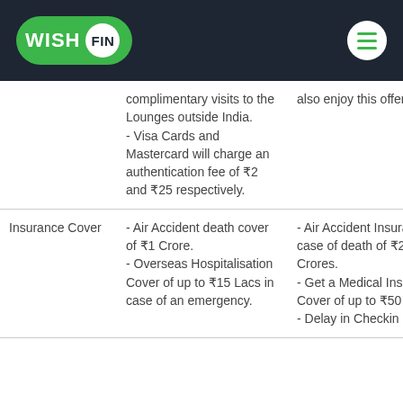WISH FIN
| Feature | Card 1 | Card 2 |
| --- | --- | --- |
|  | Complimentary visits to the Lounges outside India.
- Visa Cards and Mastercard will charge an authentication fee of ₹2 and ₹25 respectively. | also enjoy this offer. |
| Insurance Cover | - Air Accident death cover of ₹1 Crore.
- Overseas Hospitalisation Cover of up to ₹15 Lacs in case of an emergency. | - Air Accident Insurance in case of death of ₹2 Crores.
- Get a Medical Insurance Cover of up to ₹50 lacs.
- Delay in Checkin |